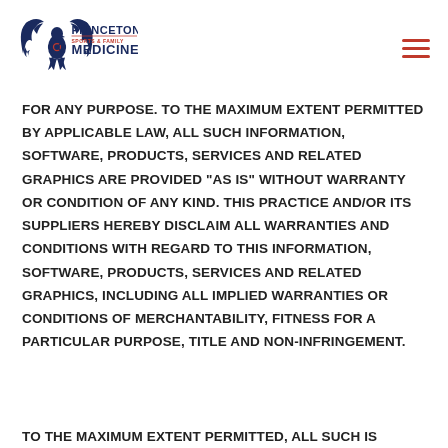Princeton Sports & Family Medicine
FOR ANY PURPOSE. TO THE MAXIMUM EXTENT PERMITTED BY APPLICABLE LAW, ALL SUCH INFORMATION, SOFTWARE, PRODUCTS, SERVICES AND RELATED GRAPHICS ARE PROVIDED "AS IS" WITHOUT WARRANTY OR CONDITION OF ANY KIND. THIS PRACTICE AND/OR ITS SUPPLIERS HEREBY DISCLAIM ALL WARRANTIES AND CONDITIONS WITH REGARD TO THIS INFORMATION, SOFTWARE, PRODUCTS, SERVICES AND RELATED GRAPHICS, INCLUDING ALL IMPLIED WARRANTIES OR CONDITIONS OF MERCHANTABILITY, FITNESS FOR A PARTICULAR PURPOSE, TITLE AND NON-INFRINGEMENT.
TO THE MAXIMUM EXTENT PERMITTED, ALL SUCH IS